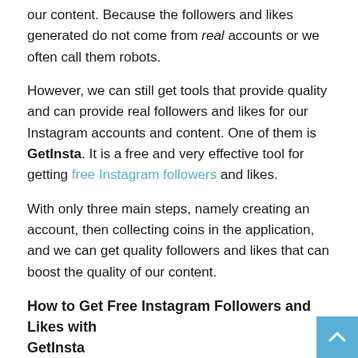our content. Because the followers and likes generated do not come from real accounts or we often call them robots.
However, we can still get tools that provide quality and can provide real followers and likes for our Instagram accounts and content. One of them is GetInsta. It is a free and very effective tool for getting free Instagram followers and likes.
With only three main steps, namely creating an account, then collecting coins in the application, and we can get quality followers and likes that can boost the quality of our content.
How to Get Free Instagram Followers and Likes with GetInsta
Then we will teach you how to get free followers for Instagram step by step.